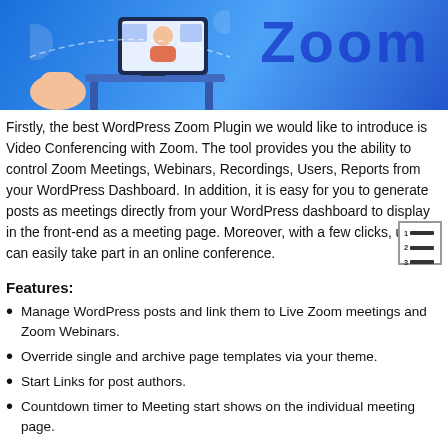[Figure (illustration): Blue banner illustration showing Zoom branding with 'Zoom' text, a person at a desk with computer screens, and decorative graphic elements on a blue gradient background.]
Firstly, the best WordPress Zoom Plugin we would like to introduce is Video Conferencing with Zoom. The tool provides you the ability to control Zoom Meetings, Webinars, Recordings, Users, Reports from your WordPress Dashboard. In addition, it is easy for you to generate posts as meetings directly from your WordPress dashboard to display in the front-end as a meeting page. Moreover, with a few clicks, users can easily take part in an online conference.
Features:
Manage WordPress posts and link them to Live Zoom meetings and Zoom Webinars.
Override single and archive page templates via your theme.
Start Links for post authors.
Countdown timer to Meeting start shows on the individual meeting page.